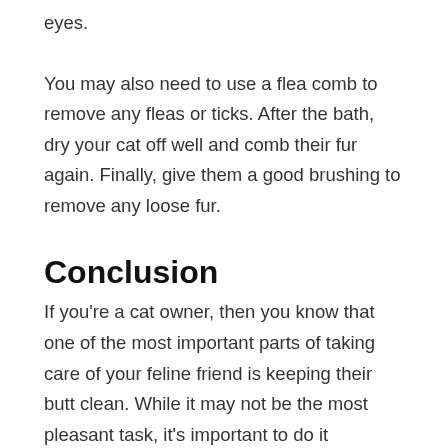eyes.
You may also need to use a flea comb to remove any fleas or ticks. After the bath, dry your cat off well and comb their fur again. Finally, give them a good brushing to remove any loose fur.
Conclusion
If you're a cat owner, then you know that one of the most important parts of taking care of your feline friend is keeping their butt clean. While it may not be the most pleasant task, it's important to do it regularly to prevent your cat from getting sick. Here's a step-by-step guide on how to clean your cat's butt: